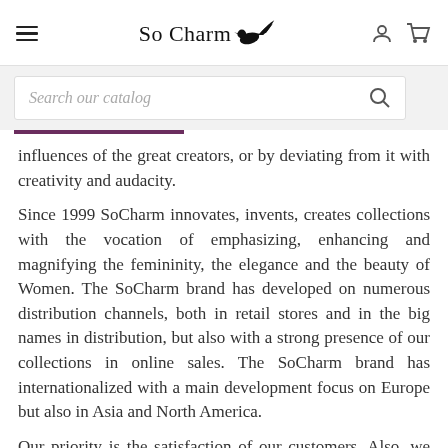So Charm [logo with bird]
Search our catalog
influences of the great creators, or by deviating from it with creativity and audacity.
Since 1999 SoCharm innovates, invents, creates collections with the vocation of emphasizing, enhancing and magnifying the femininity, the elegance and the beauty of Women. The SoCharm brand has developed on numerous distribution channels, both in retail stores and in the big names in distribution, but also with a strong presence of our collections in online sales. The SoCharm brand has internationalized with a main development focus on Europe but also in Asia and North America.
Our priority is the satisfaction of our customers. Also, we produce our collections with an extremely demanding quality charter. Although we offer a 2-year after-sales warranty that applies entirely to manufacturing defects